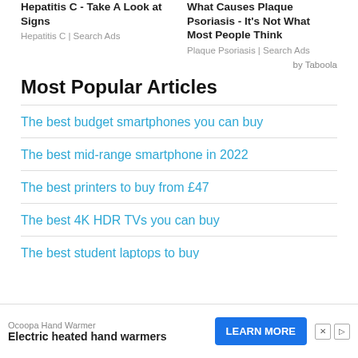Hepatitis C - Take A Look at Signs
Hepatitis C | Search Ads
What Causes Plaque Psoriasis - It's Not What Most People Think
Plaque Psoriasis | Search Ads
by Taboola
Most Popular Articles
The best budget smartphones you can buy
The best mid-range smartphone in 2022
The best printers to buy from £47
The best 4K HDR TVs you can buy
The best student laptops to buy
Ocoopa Hand Warmer
Electric heated hand warmers
LEARN MORE